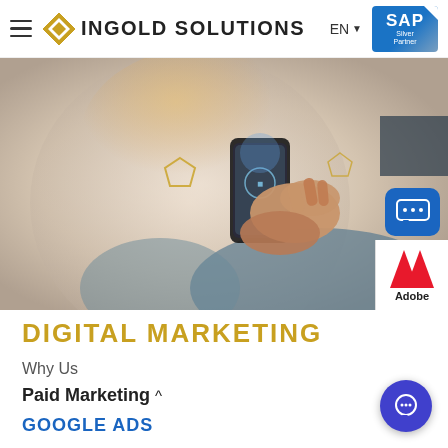INGOLD SOLUTIONS | EN | SAP Silver Partner
[Figure (photo): Hero image showing hands holding a smartphone with digital icons and glowing UI elements overlaid, circular crop with soft background]
DIGITAL MARKETING
Why Us
Paid Marketing ^
GOOGLE ADS